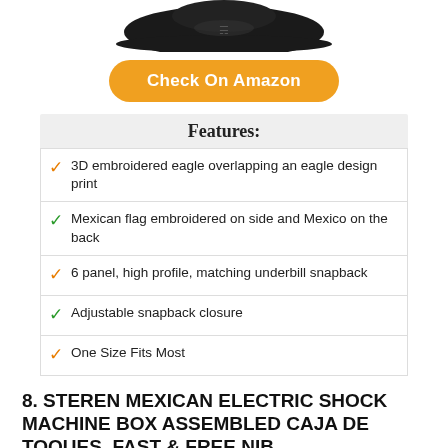[Figure (photo): Black snapback hat photographed from above, shown at top of page (partially cropped)]
Check On Amazon
Features:
3D embroidered eagle overlapping an eagle design print
Mexican flag embroidered on side and Mexico on the back
6 panel, high profile, matching underbill snapback
Adjustable snapback closure
One Size Fits Most
8. STEREN MEXICAN ELECTRIC SHOCK MACHINE BOX ASSEMBLED CAJA DE TOQUES. FAST & FREE NIB
[Figure (photo): Two people reacting to electric shock machine, partially cropped at bottom of page]